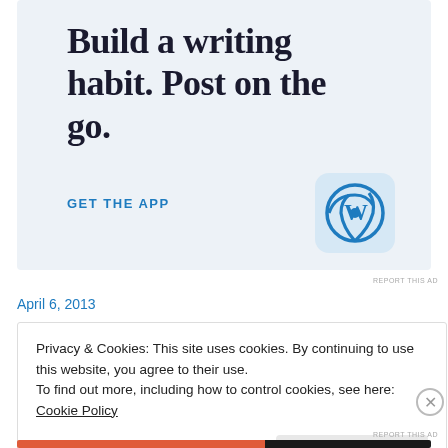[Figure (screenshot): WordPress app advertisement banner with light blue background, large serif text 'Build a writing habit. Post on the go.', a 'GET THE APP' link in blue uppercase, and the WordPress logo icon on the right.]
REPORT THIS AD
April 6, 2013
Privacy & Cookies: This site uses cookies. By continuing to use this website, you agree to their use.
To find out more, including how to control cookies, see here: Cookie Policy
Close and accept